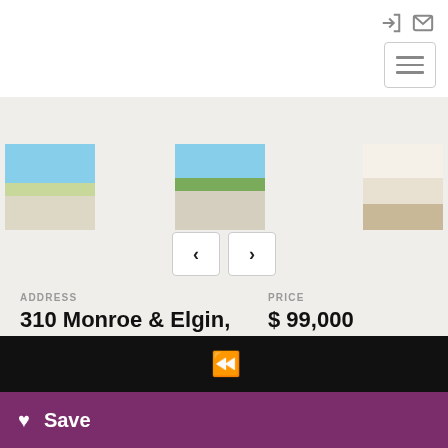[Figure (screenshot): Navigation bar with login and email icons, and hamburger menu button]
[Figure (photo): Three property photos in a carousel strip showing exterior and interior views of 310 Monroe & Elgin, Newcastle, TX]
ADDRESS
310 Monroe & Elgin, Newcastle, TX
PRICE
$ 99,000
[Figure (screenshot): Black bar with rewind/back navigation icon]
Save